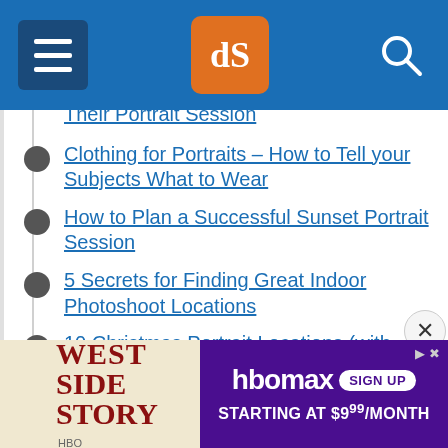[Figure (screenshot): Website navigation bar with hamburger menu, dPS logo in orange, and search icon on blue background]
Their Portrait Session
Clothing for Portraits – How to Tell your Subjects What to Wear
How to Plan a Successful Sunset Portrait Session
5 Secrets for Finding Great Indoor Photoshoot Locations
10 Christmas Portrait Locations (with Bonus Lighting and Composition Tips)
How to Build a Bench Prop for Great Portrait Photos
[Figure (screenshot): Advertisement banner: West Side Story (HBO) on left, HBOMax Sign Up Starting at $9 per month on purple background on right]